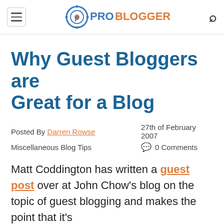ProBlogger
Why Guest Bloggers are Great for a Blog
Posted By Darren Rowse   27th of February 2007
Miscellaneous Blog Tips   0 Comments
Matt Coddington has written a guest post over at John Chow's blog on the topic of guest blogging and makes the point that it's